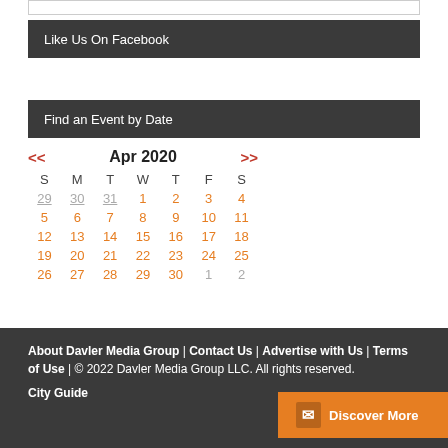Like Us On Facebook
Find an Event by Date
| S | M | T | W | T | F | S |
| --- | --- | --- | --- | --- | --- | --- |
| 29 | 30 | 31 | 1 | 2 | 3 | 4 |
| 5 | 6 | 7 | 8 | 9 | 10 | 11 |
| 12 | 13 | 14 | 15 | 16 | 17 | 18 |
| 19 | 20 | 21 | 22 | 23 | 24 | 25 |
| 26 | 27 | 28 | 29 | 30 | 1 | 2 |
About Davler Media Group | Contact Us | Advertise with Us | Terms of Use | © 2022 Davler Media Group LLC. All rights reserved.
City Guide